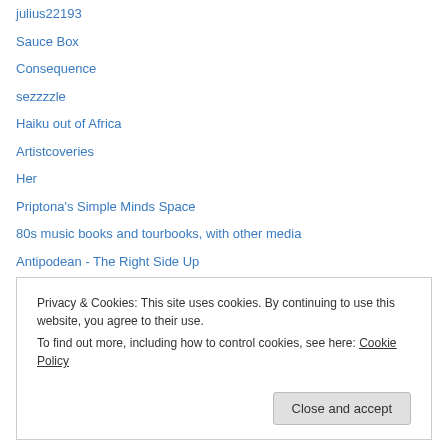julius22193
Sauce Box
Consequence
sezzzzle
Haiku out of Africa
Artistcoveries
Her
Priptona's Simple Minds Space
80s music books and tourbooks, with other media
Antipodean - The Right Side Up
subgirl13
Another Kind Of Mind
Up the hill backwards
Privacy & Cookies: This site uses cookies. By continuing to use this website, you agree to their use. To find out more, including how to control cookies, see here: Cookie Policy
Close and accept